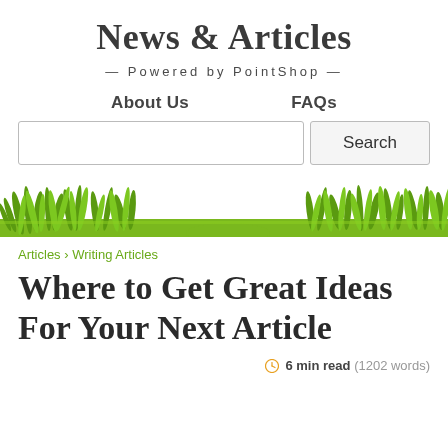News & Articles
— Powered by PointShop —
About Us    FAQs
[Figure (screenshot): Search bar with text input and Search button, surrounded by grass illustration at bottom]
Articles › Writing Articles
Where to Get Great Ideas For Your Next Article
6 min read (1202 words)